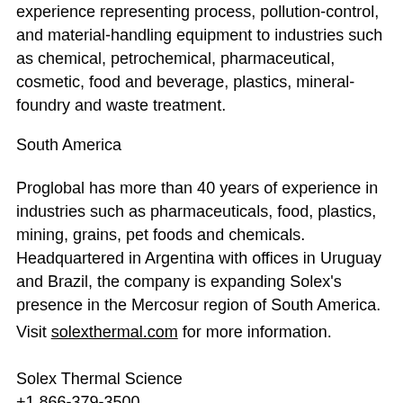experience representing process, pollution-control, and material-handling equipment to industries such as chemical, petrochemical, pharmaceutical, cosmetic, food and beverage, plastics, mineral-foundry and waste treatment.
South America
Proglobal has more than 40 years of experience in industries such as pharmaceuticals, food, plastics, mining, grains, pet foods and chemicals. Headquartered in Argentina with offices in Uruguay and Brazil, the company is expanding Solex's presence in the Mercosur region of South America.
Visit solexthermal.com for more information.
Solex Thermal Science
+1 866-379-3500